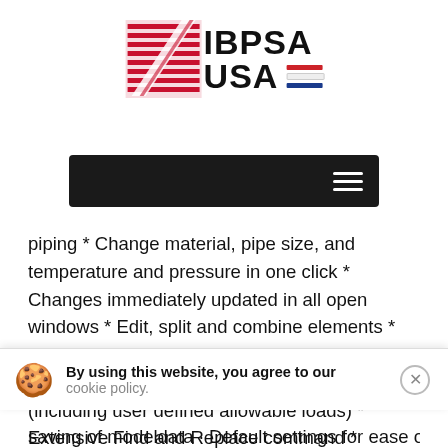[Figure (logo): IBPSA USA logo with red diagonal graphic element and red/white/blue horizontal stripes next to USA text]
[Figure (screenshot): Dark navigation bar with hamburger menu icon on the right]
piping * Change material, pipe size, and temperature and pressure in one click * Changes immediately updated in all open windows * Edit, split and combine elements * Merge models interactively * Copy and Paste single or multiple elements with supports (including user defined allowable loads) * Extensive Find and Replace command * Powerful multiple UNDO and l
By using this website, you agree to our cookie policy.
saving of modeldata * Default settings for ease of use